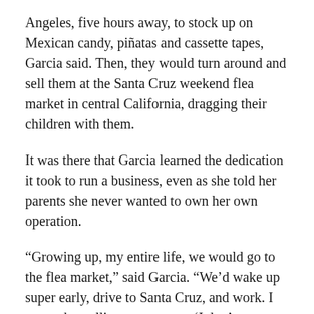Angeles, five hours away, to stock up on Mexican candy, piñatas and cassette tapes, Garcia said. Then, they would turn around and sell them at the Santa Cruz weekend flea market in central California, dragging their children with them.
It was there that Garcia learned the dedication it took to run a business, even as she told her parents she never wanted to own her own operation.
“Growing up, my entire life, we would go to the flea market,” said Garcia. “We’d wake up super early, drive to Santa Cruz, and work. I remember telling my parents, ‘I don’t want this, I don’t want to go into business.’